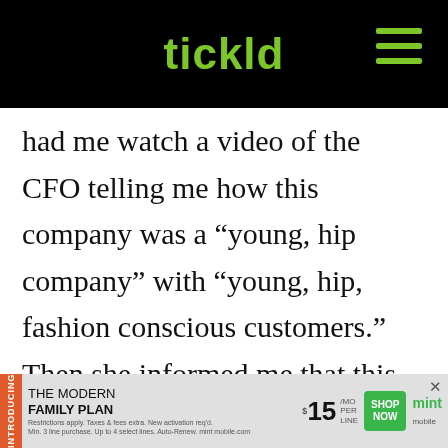tickld
had me watch a video of the CFO telling me how this company was a “young, hip company” with “young, hip, fashion conscious customers.” Then she informed me that this was the extent of my training, took me to an empty back room, and
[Figure (infographic): Mint Mobile advertisement banner: 'INTRODUCING THE MODERN FAMILY PLAN FROM $15/MO PER LINE SHOP NOW mint mobile']